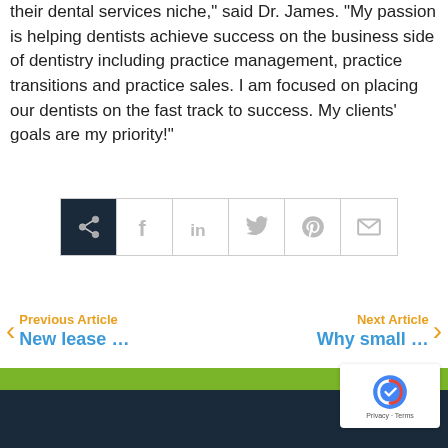their dental services niche," said Dr. James. "My passion is helping dentists achieve success on the business side of dentistry including practice management, practice transitions and practice sales. I am focused on placing our dentists on the fast track to success. My clients' goals are my priority!"
[Figure (infographic): Social share bar with icons: share (dark background), Facebook, LinkedIn, Twitter, Pinterest, Email]
Previous Article New lease …
Next Article Why small …
[Figure (other): Green bar above dark navy footer with reCAPTCHA badge]